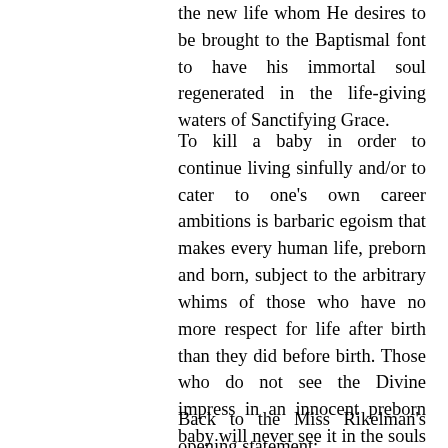the new life whom He desires to be brought to the Baptismal font to have his immortal soul regenerated in the life-giving waters of Sanctifying Grace.
To kill a baby in order to continue living sinfully and/or to cater to one's own career ambitions is barbaric egoism that makes every human life, preborn and born, subject to the arbitrary whims of those who have no more respect for life after birth than they did before birth. Those who do not see the Divine impress in an innocent preborn baby will never see it in the souls of anyone else, including themselves.
Back to the Miss Rikelman's opening statement: